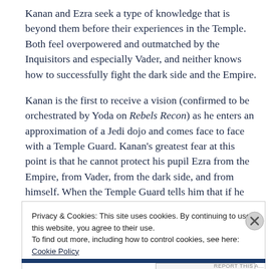Kanan and Ezra seek a type of knowledge that is beyond them before their experiences in the Temple. Both feel overpowered and outmatched by the Inquisitors and especially Vader, and neither knows how to successfully fight the dark side and the Empire.
Kanan is the first to receive a vision (confirmed to be orchestrated by Yoda on Rebels Recon) as he enters an approximation of a Jedi dojo and comes face to face with a Temple Guard. Kanan's greatest fear at this point is that he cannot protect his pupil Ezra from the Empire, from Vader, from the dark side, and from himself. When the Temple Guard tells him that if he continues to fight he'll fail and Ezra will
Privacy & Cookies: This site uses cookies. By continuing to use this website, you agree to their use. To find out more, including how to control cookies, see here: Cookie Policy